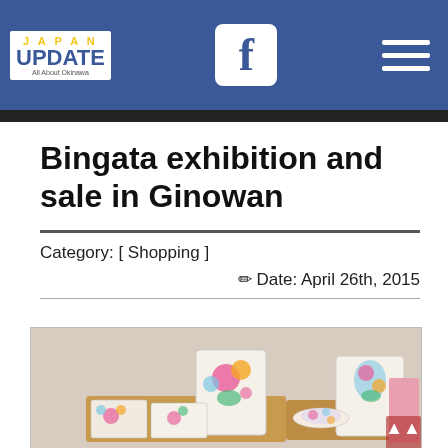Japan Update – All About Okinawa
Bingata exhibition and sale in Ginowan
Category: [ Shopping ]
Date: April 26th, 2015
[Figure (photo): Photo of colorful bingata fabric items (pouches, cards, fans with floral patterns) displayed on wooden trays on a table.]